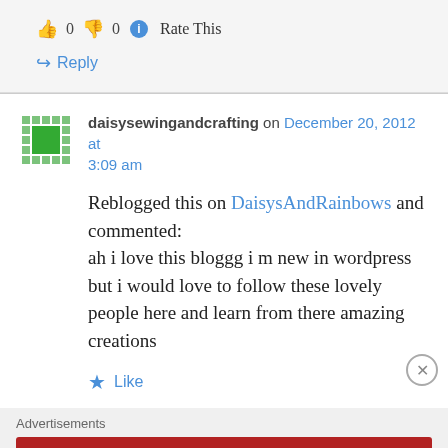👍 0 👎 0 ℹ Rate This
↪ Reply
daisysewingandcrafting on December 20, 2012 at 3:09 am
Reblogged this on DaisysAndRainbows and commented:
ah i love this bloggg i m new in wordpress but i would love to follow these lovely people here and learn from there amazing creations
★ Like
Advertisements
[Figure (other): Longreads advertisement banner: red background with logo and text 'The best stories on the web — ours, and everyone else's.']